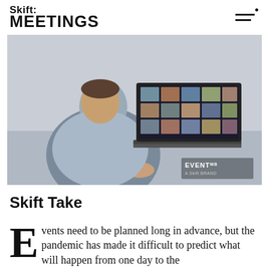Skift: MEETINGS
[Figure (photo): Person viewed from behind sitting on a couch, working on a laptop that shows a video conference grid with many participant faces. Watermark reads 'EVENT MB A Skift BRAND' in the bottom right corner.]
Skift Take
Events need to be planned long in advance, but the pandemic has made it difficult to predict what will happen from one day to the